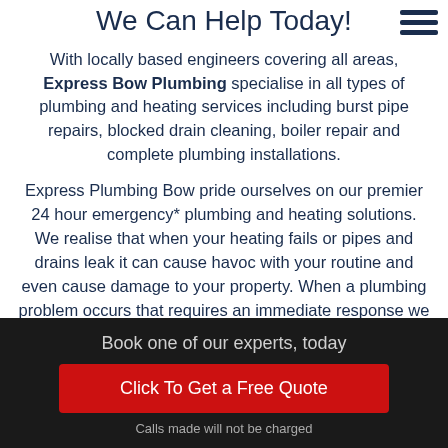We Can Help Today!
With locally based engineers covering all areas, Express Bow Plumbing specialise in all types of plumbing and heating services including burst pipe repairs, blocked drain cleaning, boiler repair and complete plumbing installations.
Express Plumbing Bow pride ourselves on our premier 24 hour emergency* plumbing and heating solutions. We realise that when your heating fails or pipes and drains leak it can cause havoc with your routine and even cause damage to your property. When a plumbing problem occurs that requires an immediate response we provide qualified local
Book one of our experts, today
Click To Get a Free Quote
Calls made will not be charged